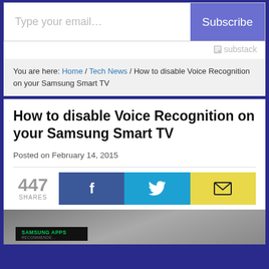[Figure (screenshot): Email subscription bar with 'Type your email...' placeholder and blue 'Subscribe' button]
[Figure (logo): Substack logo watermark in gray]
You are here: Home / Tech News / How to disable Voice Recognition on your Samsung Smart TV
How to disable Voice Recognition on your Samsung Smart TV
Posted on February 14, 2015
447 SHARES
[Figure (screenshot): Social share buttons: Facebook (dark blue with f icon), Twitter (cyan with bird icon), Email (yellow with envelope icon)]
[Figure (photo): Samsung Smart TV showing Samsung Apps screen, partially visible]